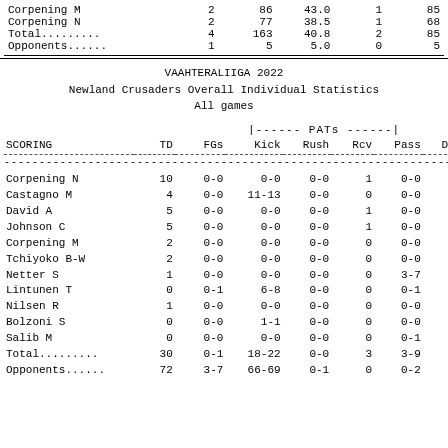|  | G | No | Avg | TD | Long |
| --- | --- | --- | --- | --- | --- |
| Corpening M | 2 | 86 | 43.0 | 1 | 85 |
| Corpening N | 2 | 77 | 38.5 | 1 | 68 |
| Total......... | 4 | 163 | 40.8 | 2 | 85 |
| Opponents...... | 1 | 5 | 5.0 | 0 | 5 |
VAAHTERALIIGA 2022
Newland Crusaders Overall Individual Statistics
All games
| SCORING | TD | FGs | Kick | Rush | Rcv | Pass | DXP | Saf | Pts |
| --- | --- | --- | --- | --- | --- | --- | --- | --- | --- |
| Corpening N | 10 | 0-0 | 0-0 | 0-0 | 1 | 0-0 | 0 | 0 |  |
| Castagno M | 4 | 0-0 | 11-13 | 0-0 | 0 | 0-0 | 0 | 0 |  |
| David A | 5 | 0-0 | 0-0 | 0-0 | 1 | 0-0 | 0 | 0 |  |
| Johnson C | 5 | 0-0 | 0-0 | 0-0 | 1 | 0-0 | 0 | 0 |  |
| Corpening M | 2 | 0-0 | 0-0 | 0-0 | 0 | 0-0 | 1 | 0 |  |
| Tchiyoko B-W | 2 | 0-0 | 0-0 | 0-0 | 0 | 0-0 | 0 | 0 |  |
| Netter S | 1 | 0-0 | 0-0 | 0-0 | 0 | 3-7 | 0 | 0 |  |
| Lintunen T | 0 | 0-1 | 6-8 | 0-0 | 0 | 0-1 | 0 | 0 |  |
| Nilsen R | 1 | 0-0 | 0-0 | 0-0 | 0 | 0-0 | 0 | 0 |  |
| Bolzoni S | 0 | 0-0 | 1-1 | 0-0 | 0 | 0-0 | 0 | 0 |  |
| Salib M | 0 | 0-0 | 0-0 | 0-0 | 0 | 0-1 | 0 | 0 |  |
| Total......... | 30 | 0-1 | 18-22 | 0-0 | 3 | 3-9 | 1 | 0 | 2 |
| Opponents...... | 72 | 3-7 | 66-69 | 0-1 | 0 | 0-2 | 0 | 5 | 5 |